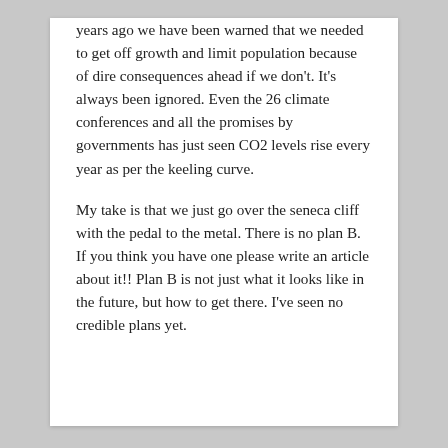years ago we have been warned that we needed to get off growth and limit population because of dire consequences ahead if we don't. It's always been ignored. Even the 26 climate conferences and all the promises by governments has just seen CO2 levels rise every year as per the keeling curve.
My take is that we just go over the seneca cliff with the pedal to the metal. There is no plan B. If you think you have one please write an article about it!! Plan B is not just what it looks like in the future, but how to get there. I've seen no credible plans yet.